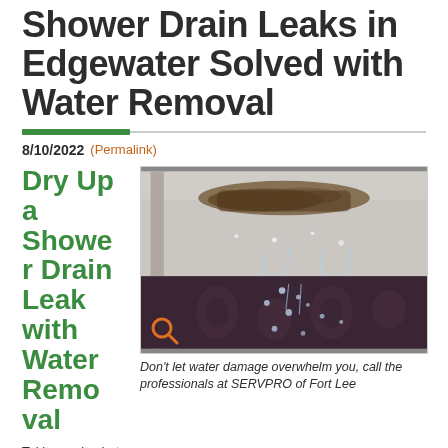Shower Drain Leaks in Edgewater Solved with Water Removal
8/10/2022 (Permalink)
Dry Up a Shower Drain Leak with Water Removal
[Figure (photo): Water dripping through a ceiling or glass panel, showing water damage with mold stains above and water droplets falling onto a dark patterned surface below]
Don't let water damage overwhelm you, call the professionals at SERVPRO of Fort Lee
Taking a nice hot shower after